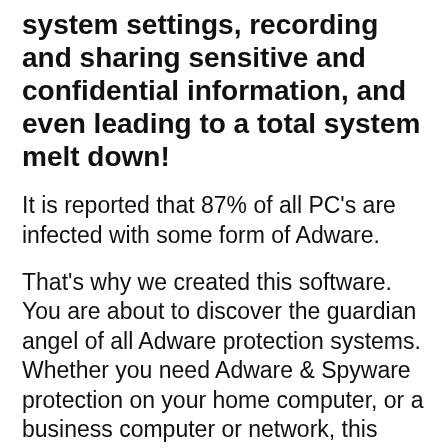system settings, recording and sharing sensitive and confidential information, and even leading to a total system melt down!
It is reported that 87% of all PC's are infected with some form of Adware.
That's why we created this software. You are about to discover the guardian angel of all Adware protection systems. Whether you need Adware & Spyware protection on your home computer, or a business computer or network, this software has been developed with your needs in mind.
Anti Adware Pro™ is Easy To Use!
It is our belief that if you can't understand a piece of software five minutes after installing it, then it is too